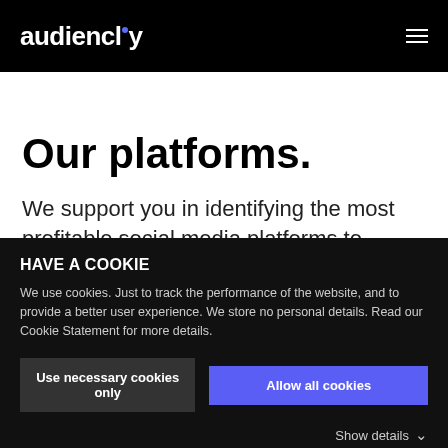audiencly
Our platforms.
We support you in identifying the most profitable social media platforms to
HAVE A COOKIE
We use cookies. Just to track the performance of the website, and to provide a better user experience. We store no personal details. Read our Cookie Statement for more details.
Use necessary cookies only
Allow all cookies
Show details